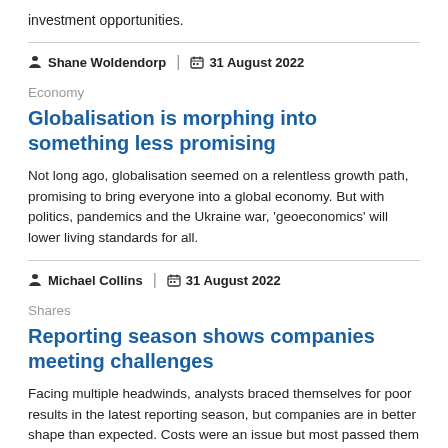investment opportunities.
Shane Woldendorp | 31 August 2022
Economy
Globalisation is morphing into something less promising
Not long ago, globalisation seemed on a relentless growth path, promising to bring everyone into a global economy. But with politics, pandemics and the Ukraine war, 'geoeconomics' will lower living standards for all.
Michael Collins | 31 August 2022
Shares
Reporting season shows companies meeting challenges
Facing multiple headwinds, analysts braced themselves for poor results in the latest reporting season, but companies are in better shape than expected. Costs were an issue but most passed them